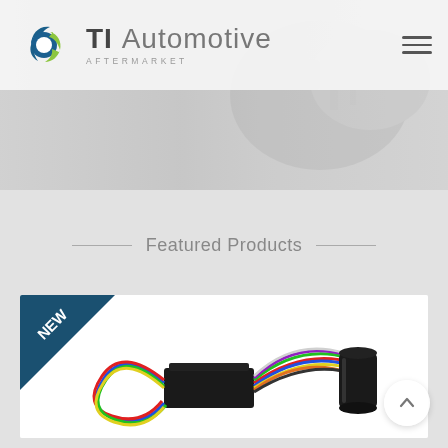[Figure (logo): TI Automotive Aftermarket logo with circular arrow icon in blue and green]
Featured Products
[Figure (photo): Product photo showing wiring harness with multicolored wires and a black cylindrical component, with a 'NEW' badge in the top-left corner]
[Figure (other): Back-to-top navigation button (upward chevron in circle)]